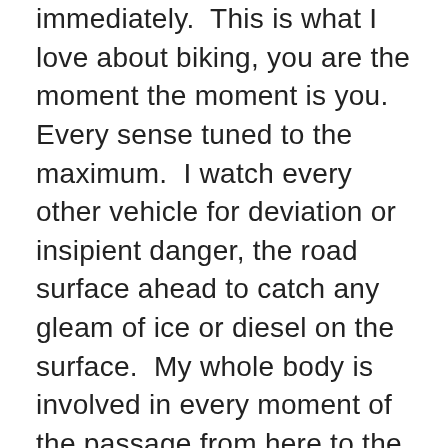immediately.  This is what I love about biking, you are the moment the moment is you.  Every sense tuned to the maximum.  I watch every other vehicle for deviation or insipient danger, the road surface ahead to catch any gleam of ice or diesel on the surface.  My whole body is involved in every moment of the passage from here to the next metre, next bend.  Now I had said to myself, we will just take a gentle little out-trip to Nant-yr-Arian about 10 miles out…  But I can't resist the hunting, the desire to overtake these tin cans and big trucks that stop my flowing ride.  Here we go through small villages and speed limits, twisting road with big hedges and over-leaning oak trees shedding their leaves